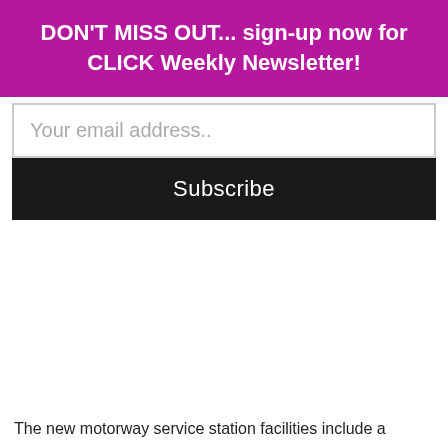DON'T MISS OUT... sign-up now for CLICK Weekly Newsletter!
Your email address..
Subscribe
The new motorway service station facilities include a